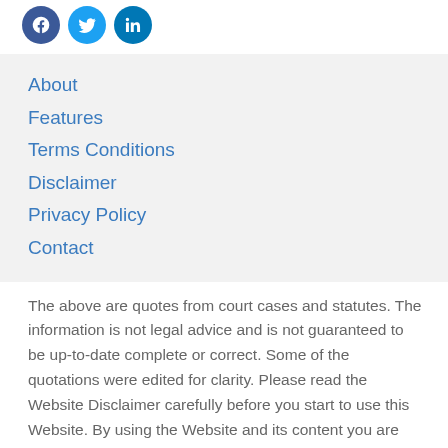[Figure (logo): Three circular social media icons: Facebook (dark blue), Twitter (light blue), LinkedIn (blue)]
About
Features
Terms Conditions
Disclaimer
Privacy Policy
Contact
The above are quotes from court cases and statutes. The information is not legal advice and is not guaranteed to be up-to-date complete or correct. Some of the quotations were edited for clarity. Please read the Website Disclaimer carefully before you start to use this Website. By using the Website and its content you are agreeing to the Website Disclaimer and our Terms &